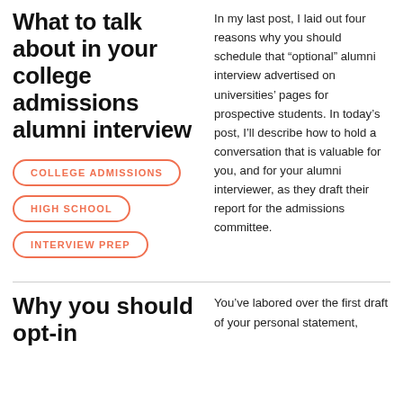What to talk about in your college admissions alumni interview
COLLEGE ADMISSIONS
HIGH SCHOOL
INTERVIEW PREP
In my last post, I laid out four reasons why you should schedule that “optional” alumni interview advertised on universities’ pages for prospective students. In today’s post, I’ll describe how to hold a conversation that is valuable for you, and for your alumni interviewer, as they draft their report for the admissions committee.
Why you should opt-in
You’ve labored over the first draft of your personal statement,